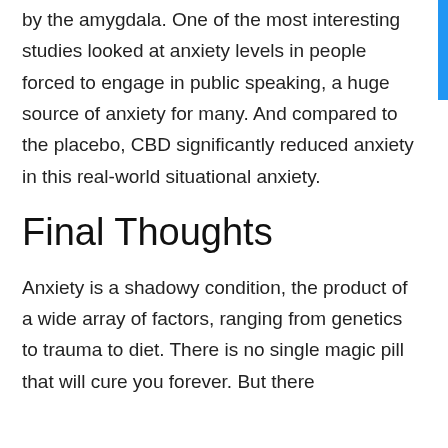by the amygdala. One of the most interesting studies looked at anxiety levels in people forced to engage in public speaking, a huge source of anxiety for many. And compared to the placebo, CBD significantly reduced anxiety in this real-world situational anxiety.
Final Thoughts
Anxiety is a shadowy condition, the product of a wide array of factors, ranging from genetics to trauma to diet. There is no single magic pill that will cure you forever. But there